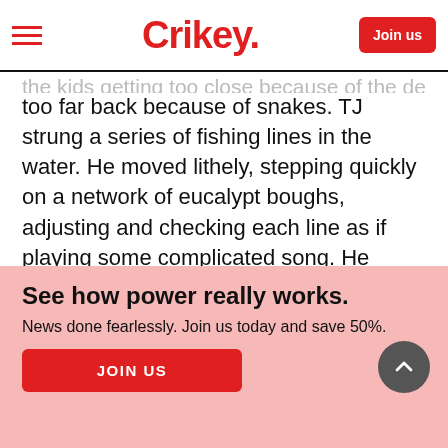Crikey. Join us
too far back because of snakes. TJ strung a series of fishing lines in the water. He moved lithely, stepping quickly on a network of eucalypt boughs, adjusting and checking each line as if playing some complicated song. He caught a large catfish and rebaited the line with a northern dwarf tree frog, Litoria bicolor, the type you see on tourist brochures.
See how power really works.
News done fearlessly. Join us today and save 50%.
JOIN US